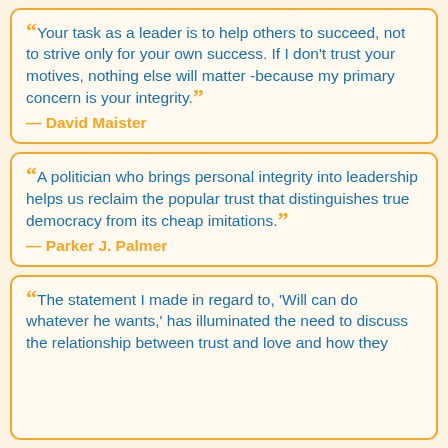“Your task as a leader is to help others to succeed, not to strive only for your own success. If I don't trust your motives, nothing else will matter -because my primary concern is your integrity.” — David Maister
“A politician who brings personal integrity into leadership helps us reclaim the popular trust that distinguishes true democracy from its cheap imitations.” — Parker J. Palmer
“The statement I made in regard to, 'Will can do whatever he wants,' has illuminated the need to discuss the relationship between trust and love and how they…